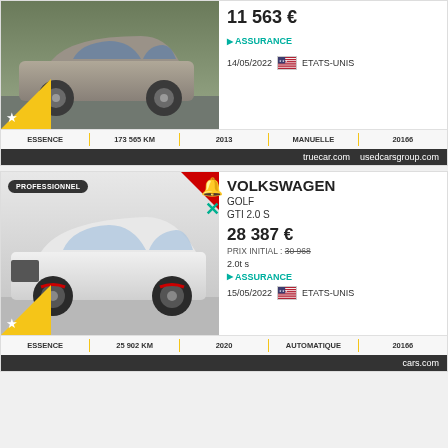[Figure (photo): Gray Volkswagen Golf side view, used car listing photo]
11 563 €
ASSURANCE
14/05/2022   ETATS-UNIS
| ESSENCE | 173 565 KM | 2013 | MANUELLE | 20166 |
| --- | --- | --- | --- | --- |
truecar.com   usedcarsgroup.com
PROFESSIONNEL
[Figure (photo): White Volkswagen Golf GTI front three-quarter view, used car listing photo]
VOLKSWAGEN
GOLF
GTI 2.0 S
28 387 €
PRIX INITIAL : 30 968
2.0t s
ASSURANCE
15/05/2022   ETATS-UNIS
| ESSENCE | 25 902 KM | 2020 | AUTOMATIQUE | 20166 |
| --- | --- | --- | --- | --- |
cars.com